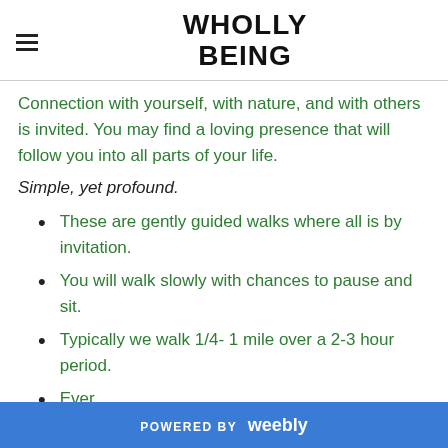WHOLLY BEING
Connection with yourself, with nature, and with others is invited. You may find a loving presence that will follow you into all parts of your life.
Simple, yet profound.
These are gently guided walks where all is by invitation.
You will walk slowly with chances to pause and sit.
Typically we walk 1/4- 1 mile over a 2-3 hour period.
POWERED BY weebly